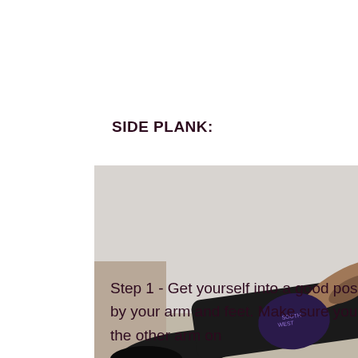SIDE PLANK:
[Figure (photo): Person performing a side plank exercise on the floor. They are wearing a black tank top and black pants with visible arm tattoos, supporting themselves on one arm with feet stacked, looking toward the camera.]
Step 1 - Get yourself into a good position before raising yourself up by your arm and feet. Make sure you are in line. For stability, put the other arm on